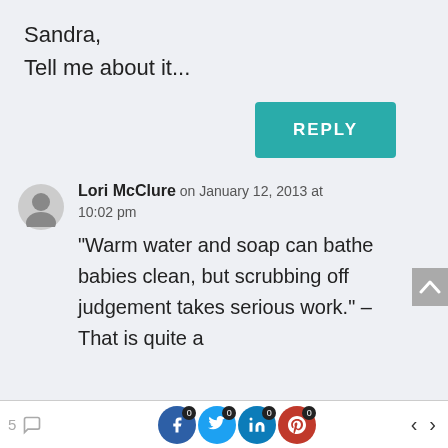Sandra,
Tell me about it...
[Figure (screenshot): Teal/green REPLY button]
Lori McClure on January 12, 2013 at 10:02 pm
“Warm water and soap can bathe babies clean, but scrubbing off judgement takes serious work.” – That is quite a
5 [comment icon] [Facebook 0] [Twitter 0] [LinkedIn 0] [Pinterest 0] < >